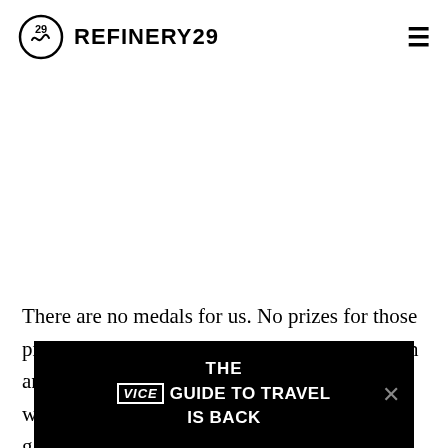REFINERY29
There are no medals for us. No prizes for those precious hours we spend wrestling ourselves in and out of a parade of unsuitable lycra items, when we should be eating Magnums, laughing gaily on rooftops or pretending to read Elena Ferrante in a park. The best reward we can hope for is som thing that the best reward we can hope for nipple
[Figure (other): Advertisement banner: THE VICE GUIDE TO TRAVEL IS BACK on black background]